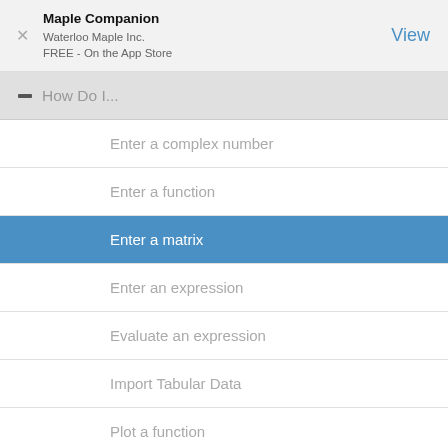Maple Companion
Waterloo Maple Inc.
FREE - On the App Store
How Do I...
Enter a complex number
Enter a function
Enter a matrix
Enter an expression
Evaluate an expression
Import Tabular Data
Plot a function
Plot a straight line